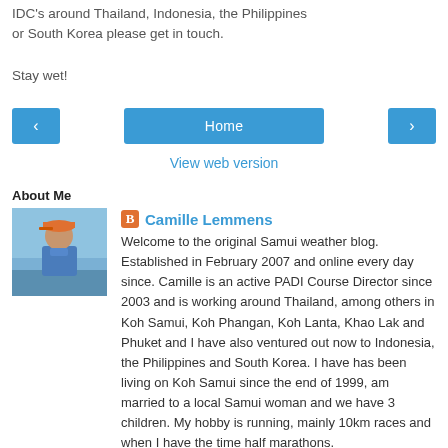IDC's around Thailand, Indonesia, the Philippines or South Korea please get in touch.
Stay wet!
Home
View web version
About Me
[Figure (photo): Profile photo of a person wearing a blue shirt and cap outdoors]
Camille Lemmens
Welcome to the original Samui weather blog. Established in February 2007 and online every day since. Camille is an active PADI Course Director since 2003 and is working around Thailand, among others in Koh Samui, Koh Phangan, Koh Lanta, Khao Lak and Phuket and I have also ventured out now to Indonesia, the Philippines and South Korea. I have has been living on Koh Samui since the end of 1999, am married to a local Samui woman and we have 3 children. My hobby is running, mainly 10km races and when I have the time half marathons.